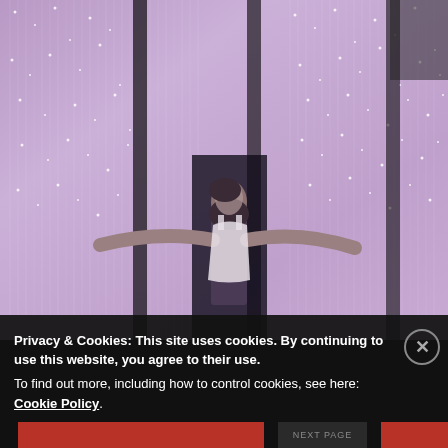[Figure (photo): A woman in a white sleeveless top stands with arms outstretched inside an immersive art installation featuring countless hanging crystal strands or LED strings creating a sparkling, kaleidoscopic purple/pink light effect with dark vertical dividers.]
Privacy & Cookies: This site uses cookies. By continuing to use this website, you agree to their use.
To find out more, including how to control cookies, see here: Cookie Policy.